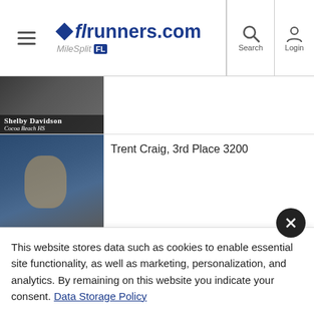flrunners.com MileSplit FL
[Figure (screenshot): Shelby Davidson, Cocoa Beach HS - thumbnail (partially cropped at top)]
[Figure (photo): Trent Craig, Cypress Lake - video thumbnail for 3rd Place 3200]
Trent Craig, 3rd Place 3200
[Figure (photo): Broken/missing image placeholder for Episcopal article]
Episcopal's Scantling, eight other Jax athletes win state titles
[Figure (photo): Jones 4x100, 2A Champs thumbnail]
Jones 4x100, 2A Champs
This website stores data such as cookies to enable essential site functionality, as well as marketing, personalization, and analytics. By remaining on this website you indicate your consent. Data Storage Policy